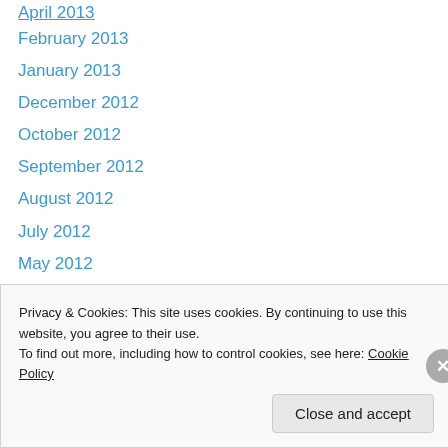April 2013
February 2013
January 2013
December 2012
October 2012
September 2012
August 2012
July 2012
May 2012
April 2012
March 2012
February 2012
January 2012
December 2011
Privacy & Cookies: This site uses cookies. By continuing to use this website, you agree to their use. To find out more, including how to control cookies, see here: Cookie Policy
Close and accept